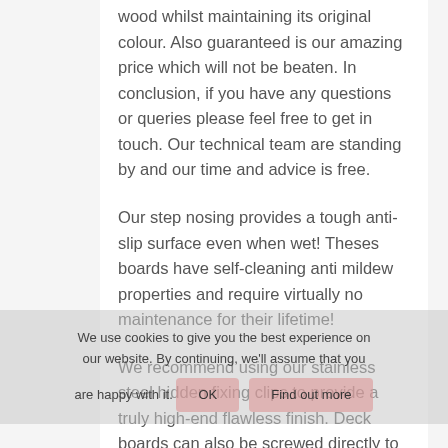wood whilst maintaining its original colour. Also guaranteed is our amazing price which will not be beaten. In conclusion, if you have any questions or queries please feel free to get in touch. Our technical team are standing by and our time and advice is free.
Our step nosing provides a tough anti-slip surface even when wet! Theses boards have self-cleaning anti mildew properties and require virtually no maintenance for their lifetime!
We recommend using our stainless steel hidden fixing clips to provide a truly high-end flawless finish. Deck boards can also be screwed directly to the supporting joists through the deck surface if preferred.